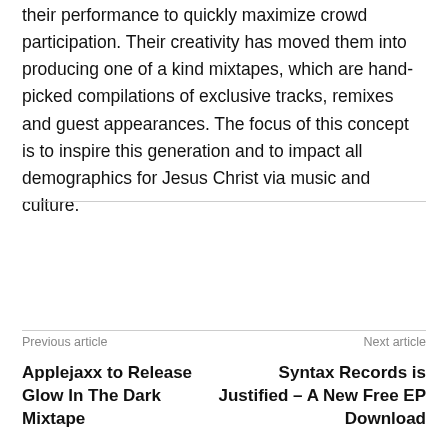their performance to quickly maximize crowd participation. Their creativity has moved them into producing one of a kind mixtapes, which are hand-picked compilations of exclusive tracks, remixes and guest appearances. The focus of this concept is to inspire this generation and to impact all demographics for Jesus Christ via music and culture.
Previous article
Next article
Applejaxx to Release Glow In The Dark Mixtape
Syntax Records is Justified – A New Free EP Download